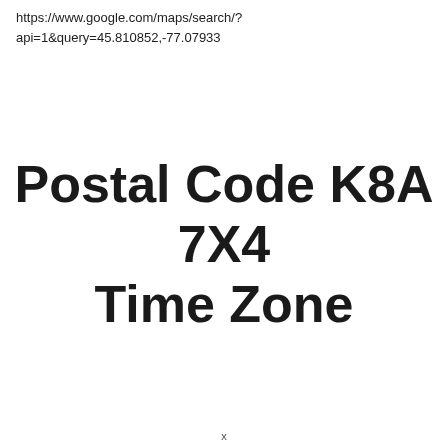https://www.google.com/maps/search/?api=1&query=45.810852,-77.07933
Postal Code K8A 7X4 Time Zone
x